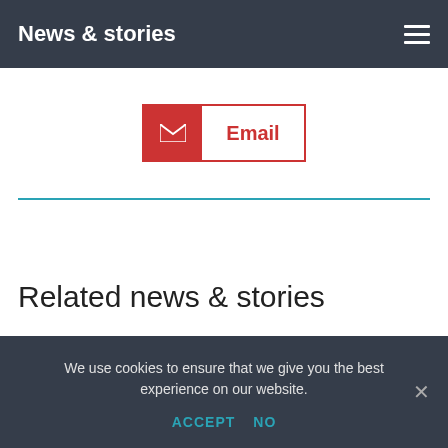News & stories
[Figure (other): Email button with envelope icon on red background and 'Email' text in red on white background with red border]
Related news & stories
[Figure (photo): Aerial/nautical image showing teal water and dock/port structures with a 'LATEST NEWS' badge in teal at bottom right]
We use cookies to ensure that we give you the best experience on our website.
ACCEPT  NO